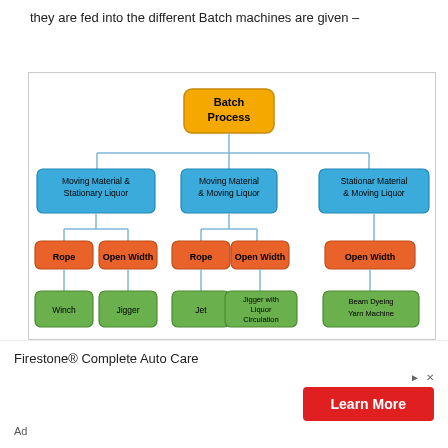they are fed into the different Batch machines are given –
[Figure (organizational-chart): Hierarchical flowchart of Batch Process showing: Batch Process at top (yellow), three branches: 'Moving Material & Stationary Liquor' (blue), 'Moving Material & Moving Liquor' (blue), 'Stationar Material & Moving Liquor' (blue). First blue branch leads to Rope and Open Width (orange), which lead to Winch and Jigger (green). Second blue branch leads to Rope and Open Width (orange), which lead to Jet and Jigger with Liquor Circulation (green). Third blue branch leads to Open Width (orange), which leads to Beam Dyeing Yarn Machine (green). Caption: Batch/ Dis-continuous Dyeing Process]
Batch/ Dis-continuous Dyeing Process
Firestone® Complete Auto Care
Ad